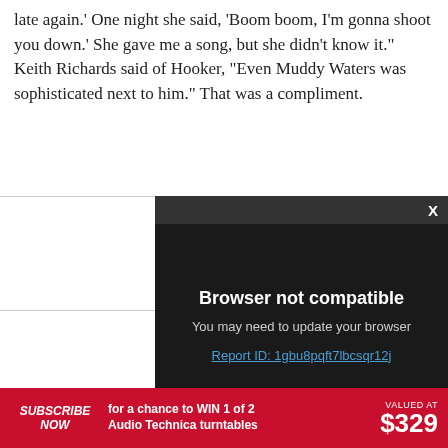late again.' One night she said, ‘Boom boom, I’m gonna shoot you down.’ She gave me a song, but she didn’t know it.” Keith Richards said of Hooker, “Even Muddy Waters was sophisticated next to him.” That was a compliment.
[Figure (screenshot): Browser not compatible modal overlay with dark background. Shows title 'Browser not compatible', subtitle 'You may need to update your browser', and a link 'Report ID: 1gbu8pqft7lbcsqr12j'. Has an X close button in the top bar.]
[Figure (other): Red badge showing number 462, partially visible green illustrated image area to the right]
[Figure (infographic): Red subscribe banner: 'SUBSCRIBE NOW for a chance to WIN 1 of 2 Audio Technica turntables VALUED AT $329']